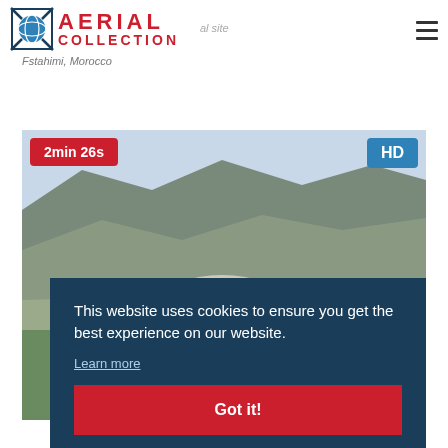AERIAL COLLECTION
aerial site
Fstahimi, Morocco
[Figure (screenshot): Aerial video thumbnail of a mountainous landscape with a town nestled among hills and vegetation, duration badge '2min 26s' in red top-left, 'HD' badge in blue top-right]
[Figure (infographic): Cookie consent overlay with dark navy background. Text: 'This website uses cookies to ensure you get the best experience on our website.' with 'Learn more' link and red 'Got it!' button]
Green Mountains
Mou...